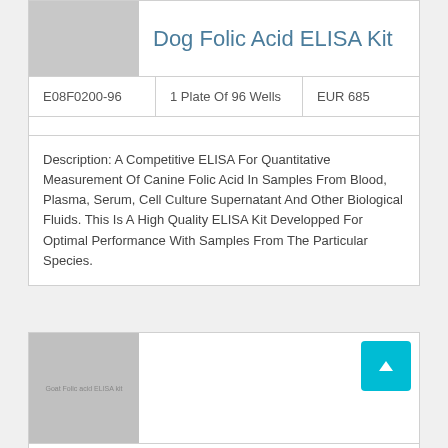Dog Folic Acid ELISA Kit
| SKU | Size | Price |
| --- | --- | --- |
| E08F0200-96 | 1 Plate Of 96 Wells | EUR 685 |
Description: A Competitive ELISA For Quantitative Measurement Of Canine Folic Acid In Samples From Blood, Plasma, Serum, Cell Culture Supernatant And Other Biological Fluids. This Is A High Quality ELISA Kit Developped For Optimal Performance With Samples From The Particular Species.
Goat Folic Acid ELISA Kit